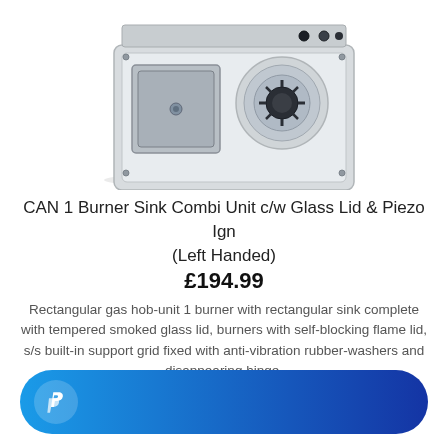[Figure (photo): Product photo of a stainless steel CAN 1 Burner Sink Combi Unit with glass lid and piezo ignition, left-handed configuration, viewed from above at an angle.]
CAN 1 Burner Sink Combi Unit c/w Glass Lid & Piezo Ign (Left Handed)
£194.99
Rectangular gas hob-unit 1 burner with rectangular sink complete with tempered smoked glass lid, burners with self-blocking flame lid, s/s built-in support grid fixed with anti-vibration rubber-washers and disappearing hinge.
[Figure (logo): PayPal payment button with PayPal logo icon on left, blue gradient rounded rectangle button.]